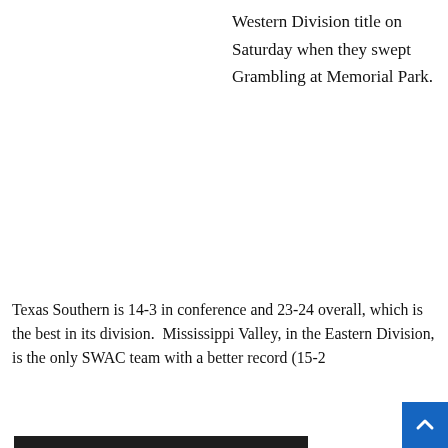Western Division title on Saturday when they swept Grambling at Memorial Park.
Texas Southern is 14-3 in conference and 23-24 overall, which is the best in its division.  Mississippi Valley, in the Eastern Division, is the only SWAC team with a better record (15-2
[Figure (screenshot): Video player overlay showing 'THIS DAY IN HISTORY' with a blue arrow/play button icon and 'AUGUST' text, with a mute button in the bottom left corner]
WAC Champions on 9th among all NCAA batting average.  TSU is 4th in triples per game (0.4), 8th in stolen bases per game (2.26), 31st in scoring (5.86) and 43rd in slugging percentage (.260).